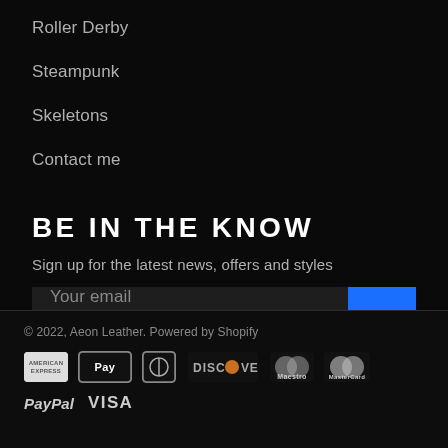Roller Derby
Steampunk
Skeletons
Contact me
BE IN THE KNOW
Sign up for the latest news, offers and styles
Your email
© 2022, Aeon Leather. Powered by Shopify